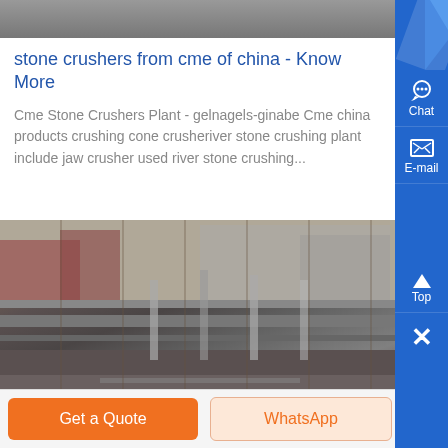[Figure (photo): Top partial image of stone crusher equipment, grayscale/dark tones]
stone crushers from cme of china - Know More
Cme Stone Crushers Plant - gelnagels-ginabe Cme china products crushing cone crusheriver stone crushing plant include jaw crusher used river stone crushing...
[Figure (photo): Industrial factory or stone crushing plant facility, outdoor scene with machinery and structures, dark tones]
Get a Quote
WhatsApp